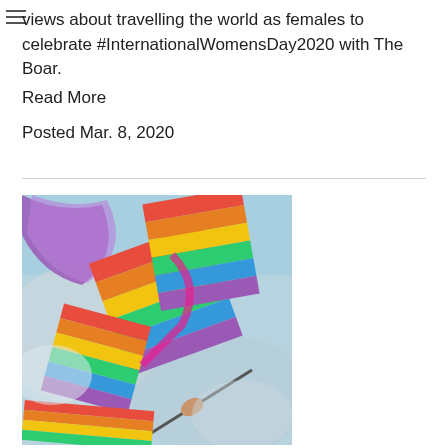views about travelling the world as females to celebrate #InternationalWomensDay2020 with The Boar.
Read More
Posted Mar. 8, 2020
[Figure (photo): Person waving rainbow pride flags outdoors against a light blue sky with smoke in the background.]